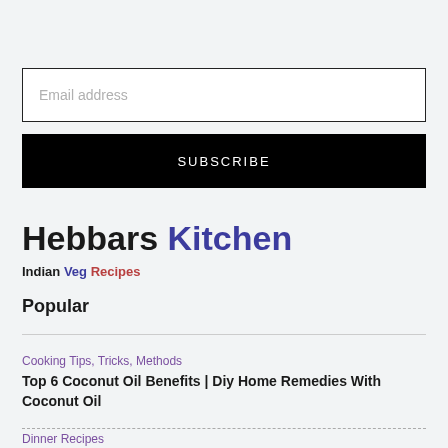Email address
SUBSCRIBE
Hebbars Kitchen
Indian Veg Recipes
Popular
Cooking Tips, Tricks, Methods
Top 6 Coconut Oil Benefits | Diy Home Remedies With Coconut Oil
Dinner Recipes